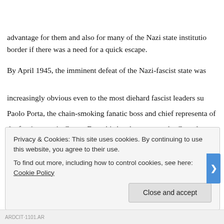advantage for them and also for many of the Nazi state institutions near the border if there was a need for a quick escape.
By April 1945, the imminent defeat of the Nazi-fascist state was increasingly obvious even to the most diehard fascist leaders such as Paolo Porta, the chain-smoking fanatic boss and chief representative of the fascist state in Como. From his headquarters at the Casa del Fascio (Giuseppe Terragni's rationalist masterpiece), and from the barracks of his division of the Brigate Nere right by Como Borghi Station, he waged a successful war against the partisan bands operating in the hills on the western shores of the lake and those further up towards the Valtellina.
Privacy & Cookies: This site uses cookies. By continuing to use this website, you agree to their use. To find out more, including how to control cookies, see here: Cookie Policy